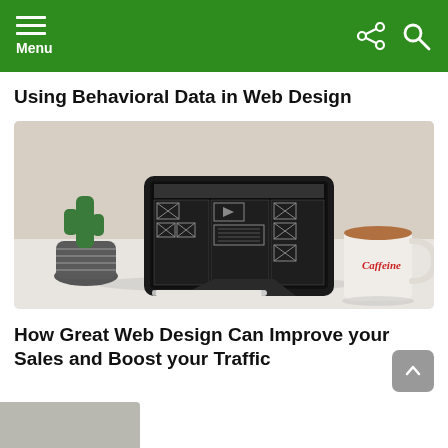Menu
Using Behavioral Data in Web Design
[Figure (photo): A tablet showing a wireframe/UX design layout on its screen, propped up on a stand on a white desk. To the left is a small cactus plant in a white and black pot. To the right is a white coffee mug labeled 'Caffeine' in red script. A white stylus pen lies in front of the tablet.]
How Great Web Design Can Improve your Sales and Boost your Traffic